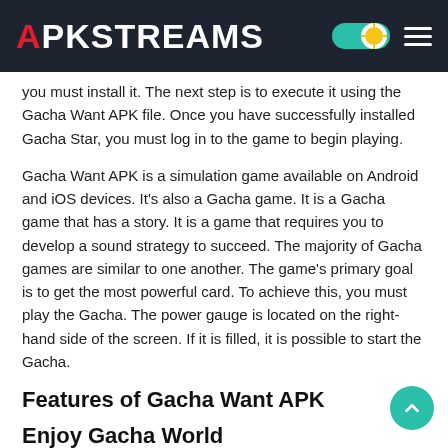APKSTREAMS
you must install it. The next step is to execute it using the Gacha Want APK file. Once you have successfully installed Gacha Star, you must log in to the game to begin playing.
Gacha Want APK is a simulation game available on Android and iOS devices. It's also a Gacha game. It is a Gacha game that has a story. It is a game that requires you to develop a sound strategy to succeed. The majority of Gacha games are similar to one another. The game's primary goal is to get the most powerful card. To achieve this, you must play the Gacha. The power gauge is located on the right-hand side of the screen. If it is filled, it is possible to start the Gacha.
Features of Gacha Want APK
Enjoy Gacha World